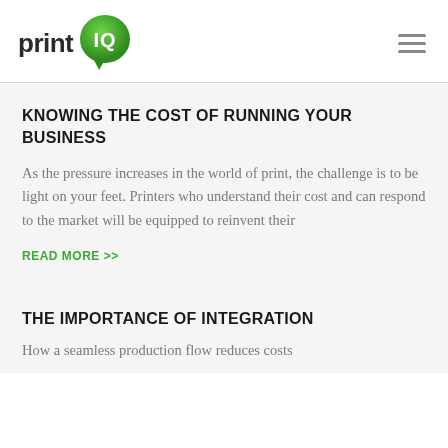[Figure (logo): printIQ logo with green speech bubble containing 'IQ' in white text, next to bold text 'print']
KNOWING THE COST OF RUNNING YOUR BUSINESS
As the pressure increases in the world of print, the challenge is to be light on your feet. Printers who understand their cost and can respond to the market will be equipped to reinvent their
READ MORE >>
THE IMPORTANCE OF INTEGRATION
How a seamless production flow reduces costs